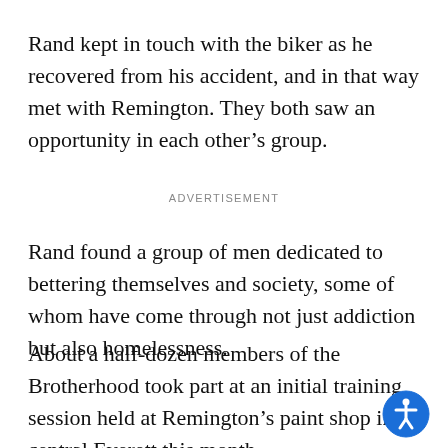Rand kept in touch with the biker as he recovered from his accident, and in that way met with Remington. They both saw an opportunity in each other’s group.
ADVERTISEMENT
Rand found a group of men dedicated to bettering themselves and society, some of whom have come through not just addiction but also homelessness.
About a half-dozen members of the Brotherhood took part at an initial training session held at Remington’s paint shop in central Everett this month.